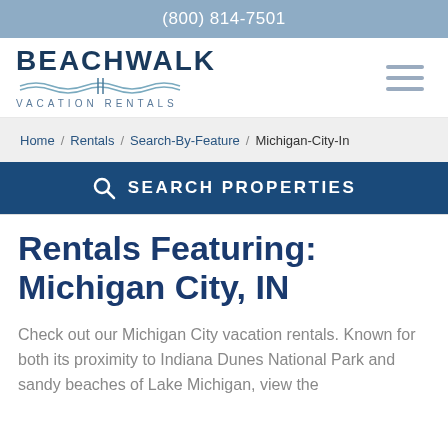(800) 814-7501
[Figure (logo): Beachwalk Vacation Rentals logo with wave graphic and text]
Home / Rentals / Search-By-Feature / Michigan-City-In
SEARCH PROPERTIES
Rentals Featuring: Michigan City, IN
Check out our Michigan City vacation rentals. Known for both its proximity to Indiana Dunes National Park and sandy beaches of Lake Michigan, view the